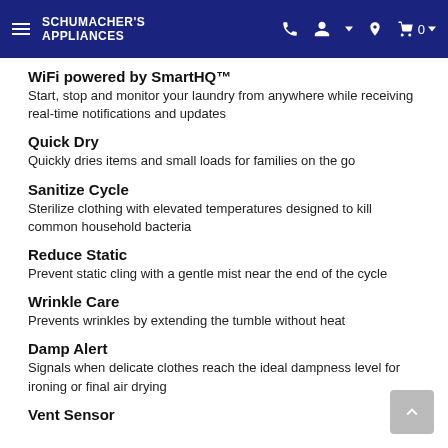Schumacher's Appliances
WiFi powered by SmartHQ™
Start, stop and monitor your laundry from anywhere while receiving real-time notifications and updates
Quick Dry
Quickly dries items and small loads for families on the go
Sanitize Cycle
Sterilize clothing with elevated temperatures designed to kill common household bacteria
Reduce Static
Prevent static cling with a gentle mist near the end of the cycle
Wrinkle Care
Prevents wrinkles by extending the tumble without heat
Damp Alert
Signals when delicate clothes reach the ideal dampness level for ironing or final air drying
Vent Sensor